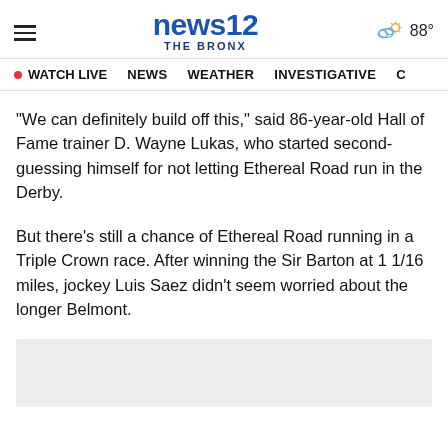news12 THE BRONX | 88°
WATCH LIVE  NEWS  WEATHER  INVESTIGATIVE  C
"We can definitely build off this," said 86-year-old Hall of Fame trainer D. Wayne Lukas, who started second-guessing himself for not letting Ethereal Road run in the Derby.
But there's still a chance of Ethereal Road running in a Triple Crown race. After winning the Sir Barton at 1 1/16 miles, jockey Luis Saez didn't seem worried about the longer Belmont.
[Figure (other): Advertisement placeholder gray box]